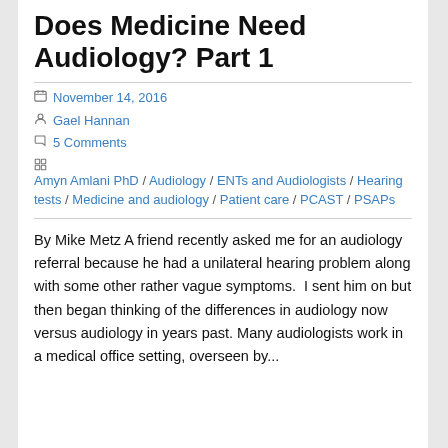Does Medicine Need Audiology? Part 1
November 14, 2016
Gael Hannan
5 Comments
Amyn Amlani PhD / Audiology / ENTs and Audiologists / Hearing tests / Medicine and audiology / Patient care / PCAST / PSAPs
By Mike Metz A friend recently asked me for an audiology referral because he had a unilateral hearing problem along with some other rather vague symptoms.  I sent him on but then began thinking of the differences in audiology now versus audiology in years past. Many audiologists work in a medical office setting, overseen by...